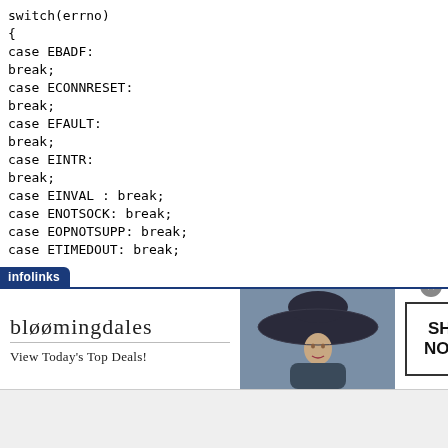switch(errno)
{
case EBADF:
break;
case ECONNRESET:
break;
case EFAULT:
break;
case EINTR:
break;
case EINVAL : break;
case ENOTSOCK: break;
case EOPNOTSUPP: break;
case ETIMEDOUT: break;
[Figure (screenshot): Bloomingdales advertisement banner with infolinks tab, showing 'bloomingdales - View Today's Top Deals!' text, a woman in a wide-brim hat, and a SHOP NOW > button.]